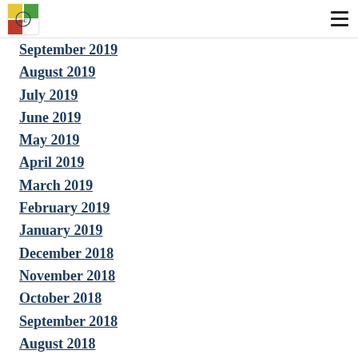Dunfanaghy Golf Club logo and navigation menu
September 2019
August 2019
July 2019
June 2019
May 2019
April 2019
March 2019
February 2019
January 2019
December 2018
November 2018
October 2018
September 2018
August 2018
July 2018
June 2018
May 2018